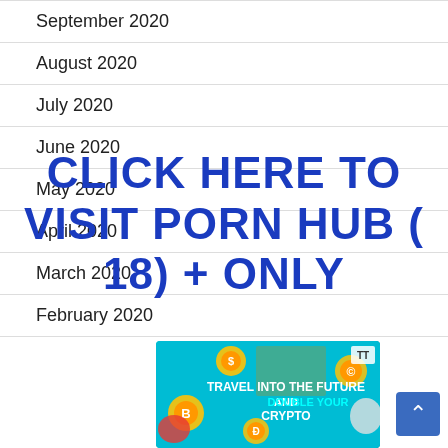September 2020
August 2020
July 2020
June 2020
May 2020
April 2020
March 2020
February 2020
[Figure (other): Advertisement overlay text: CLICK HERE TO VISIT PORN HUB (18) + ONLY in large bold blue capital letters]
[Figure (illustration): Crypto advertisement banner: TRAVEL INTO THE FUTURE AND DOUBLE YOUR CRYPTO with cartoon cat characters and coin graphics on teal background]